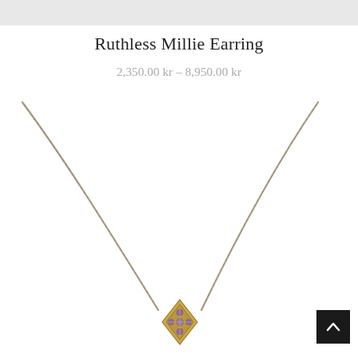[Figure (photo): Light gray strip at top of page, partial product image cropped]
Ruthless Millie Earring
2,350.00 kr – 8,950.00 kr
[Figure (photo): A delicate silver chain necklace with a small diamond-shaped pendant featuring purple/amethyst gemstones in a vintage filigree setting, photographed on white background]